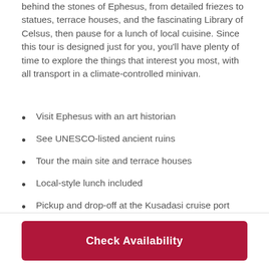behind the stones of Ephesus, from detailed friezes to statues, terrace houses, and the fascinating Library of Celsus, then pause for a lunch of local cuisine. Since this tour is designed just for you, you'll have plenty of time to explore the things that interest you most, with all transport in a climate-controlled minivan.
Visit Ephesus with an art historian
See UNESCO-listed ancient ruins
Tour the main site and terrace houses
Local-style lunch included
Pickup and drop-off at the Kusadasi cruise port
Private guide for a more personalized experience
Check Availability